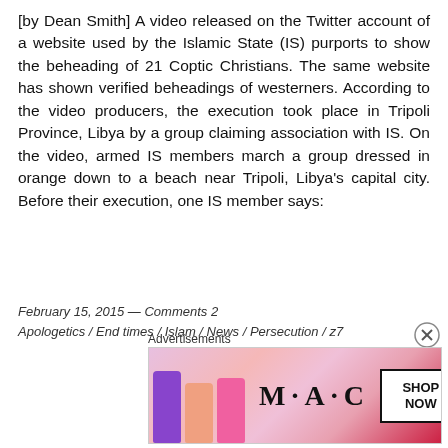[by Dean Smith] A video released on the Twitter account of a website used by the Islamic State (IS) purports to show the beheading of 21 Coptic Christians. The same website has shown verified beheadings of westerners. According to the video producers, the execution took place in Tripoli Province, Libya by a group claiming association with IS. On the video, armed IS members march a group dressed in orange down to a beach near Tripoli, Libya's capital city. Before their execution, one IS member says:
February 15, 2015 — Comments 2
apologetics / End times / Islam / News / Persecution / z7
Advertisements
[Figure (photo): MAC cosmetics advertisement showing lipsticks and SHOP NOW button]